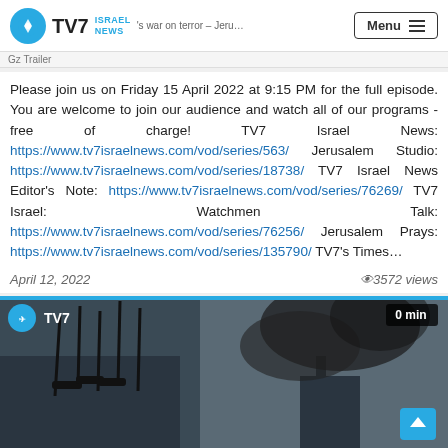TV7 Israel News — Menu — Israel's war on terror – Jerusalem — Gz Trailer
Please join us on Friday 15 April 2022 at 9:15 PM for the full episode. You are welcome to join our audience and watch all of our programs - free of charge! TV7 Israel News: https://www.tv7israelnews.com/vod/series/563/ Jerusalem Studio: https://www.tv7israelnews.com/vod/series/18738/ TV7 Israel News Editor's Note: https://www.tv7israelnews.com/vod/series/76269/ TV7 Israel: Watchmen Talk: https://www.tv7israelnews.com/vod/series/76256/ Jerusalem Prays: https://www.tv7israelnews.com/vod/series/135790/ TV7's Times...
April 12, 2022    👁3572 views
[Figure (photo): Video thumbnail showing armed figures with weapons raised and smoke/explosion in background. TV7 logo watermark top-left. Badge reading '0 min' top-right. Scroll-up button bottom-right.]